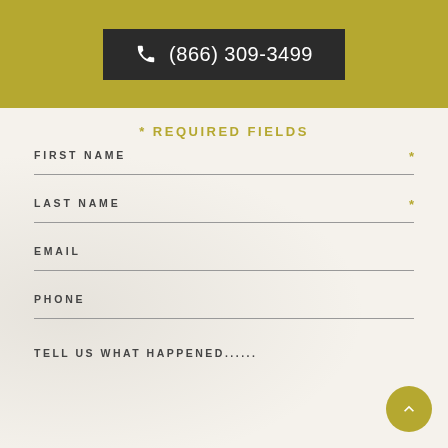(866) 309-3499
* REQUIRED FIELDS
FIRST NAME *
LAST NAME *
EMAIL
PHONE
TELL US WHAT HAPPENED......